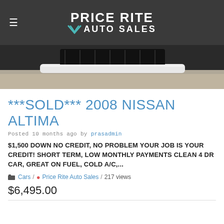Price Rite Auto Sales
[Figure (photo): Close-up photo of the front bumper and grille area of a white/light colored vehicle, photographed from below on a concrete surface]
***SOLD*** 2008 NISSAN ALTIMA
Posted 10 months ago by prasadmin
$1,500 DOWN NO CREDIT, NO PROBLEM YOUR JOB IS YOUR CREDIT! SHORT TERM, LOW MONTHLY PAYMENTS CLEAN 4 DR CAR, GREAT ON FUEL, COLD A/C,...
Cars / Price Rite Auto Sales / 217 views
$6,495.00